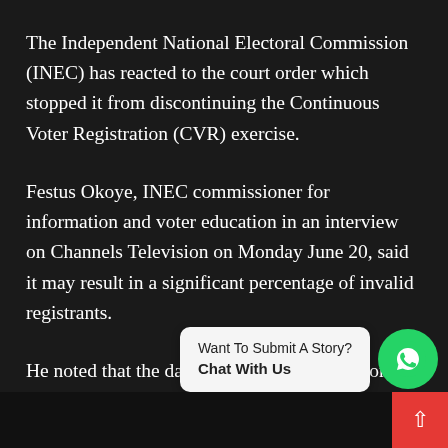The Independent National Electoral Commission (INEC) has reacted to the court order which stopped it from discontinuing the Continuous Voter Registration (CVR) exercise.
Festus Okoye, INEC commissioner for information and voter education in an interview on Channels Television on Monday June 20, said it may result in a significant percentage of invalid registrants.
He noted that the date fixed for the suspension of the exercise is to give the commission enough time to clean up the voter register for t...
Want To Submit A Story?
Chat With Us